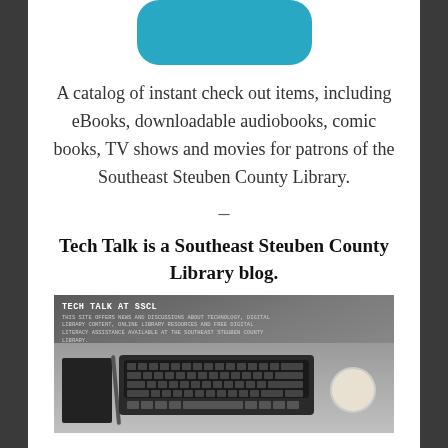[Figure (logo): Teal/cyan rounded rectangle logo at the top]
A catalog of instant check out items, including eBooks, downloadable audiobooks, comic books, TV shows and movies for patrons of the Southeast Steuben County Library.
–
Tech Talk is a Southeast Steuben County Library blog.
[Figure (screenshot): Screenshot of the Tech Talk at SSCL blog website showing a laptop on a desk with a notebook, pen, plant, and coffee cup]